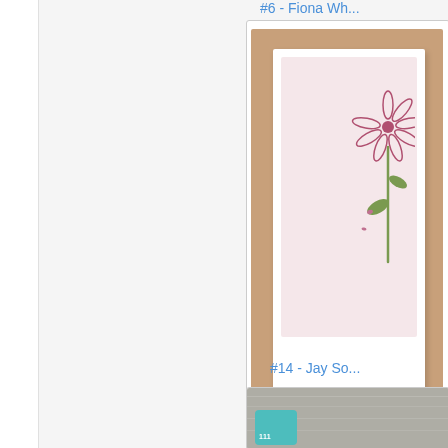#6 - Fiona Wh...
[Figure (photo): A handmade greeting card with a pink cosmo flower stamp on a white card, placed on a wooden surface. Watermark text reads: Fiona Whitehead / www.craftystamping... / All images ©Stampin...]
#14 - Jay So...
[Figure (photo): Partial view of a crafting photo on a gray wooden background, with a teal tag visible at the bottom left.]